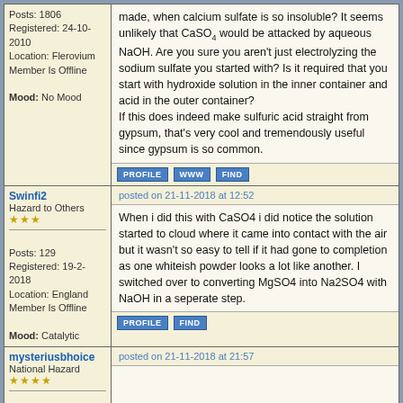Posts: 1806
Registered: 24-10-2010
Location: Flerovium
Member Is Offline
Mood: No Mood
made, when calcium sulfate is so insoluble? It seems unlikely that CaSO4 would be attacked by aqueous NaOH. Are you sure you aren't just electrolyzing the sodium sulfate you started with? Is it required that you start with hydroxide solution in the inner container and acid in the outer container?
If this does indeed make sulfuric acid straight from gypsum, that's very cool and tremendously useful since gypsum is so common.
Swinfi2
Hazard to Others
posted on 21-11-2018 at 12:52
Posts: 129
Registered: 19-2-2018
Location: England
Member Is Offline
Mood: Catalytic
When i did this with CaSO4 i did notice the solution started to cloud where it came into contact with the air but it wasn't so easy to tell if it had gone to completion as one whiteish powder looks a lot like another. I switched over to converting MgSO4 into Na2SO4 with NaOH in a seperate step.
mysteriusbhoice
National Hazard
posted on 21-11-2018 at 21:57